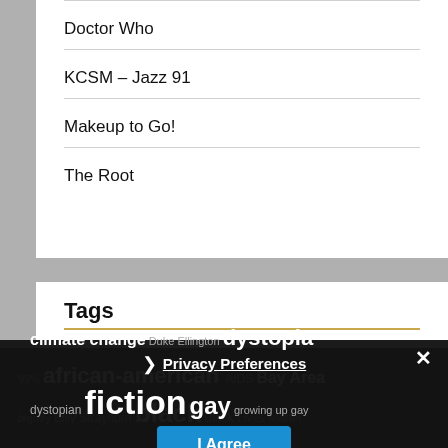Doctor Who
KCSM – Jazz 91
Makeup to Go!
The Root
Tags
99% african-american AIDS Bay Area bigotry Billy Strayhorn black Black Lives Matter climate change Duke Ellington dystopia dystopian fiction gay growing up gay
Privacy Preferences | I Agree